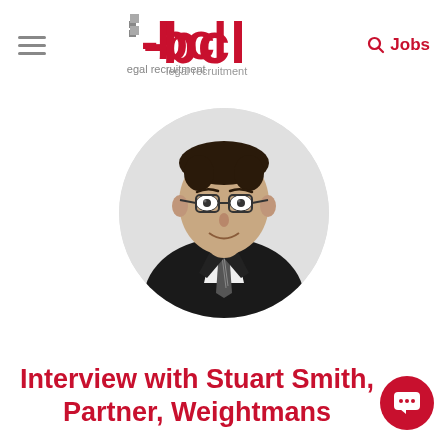bcl legal recruitment — Jobs
[Figure (photo): Black and white headshot photo of Stuart Smith, a man with glasses and dark hair, wearing a suit and striped tie, in a circular crop.]
Interview with Stuart Smith, Partner, Weightmans